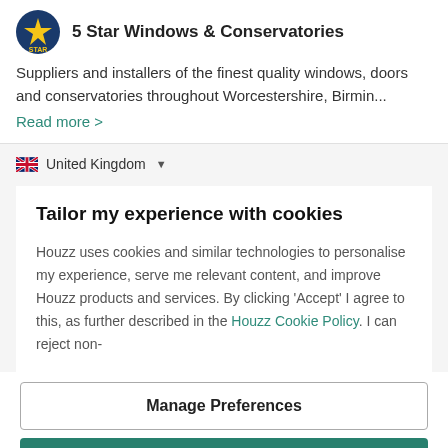[Figure (logo): 5 Star Windows & Conservatories circular logo with star icon, blue and yellow]
5 Star Windows & Conservatories
Suppliers and installers of the finest quality windows, doors and conservatories throughout Worcestershire, Birmin...
Read more >
🇬🇧 United Kingdom ▼
Tailor my experience with cookies
Houzz uses cookies and similar technologies to personalise my experience, serve me relevant content, and improve Houzz products and services. By clicking 'Accept' I agree to this, as further described in the Houzz Cookie Policy. I can reject non-
Manage Preferences
Accept